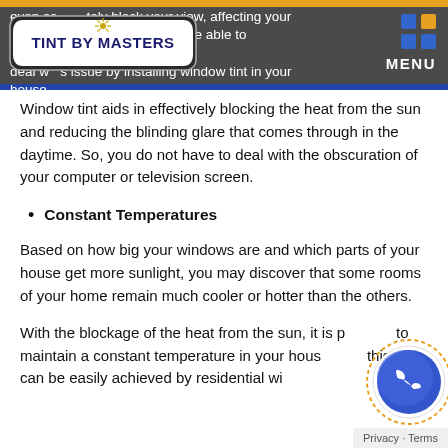even completely block your view, affecting your work. You would be able to efficiently deal with this issue by installing window tint in your house.
Window tint aids in effectively blocking the heat from the sun and reducing the blinding glare that comes through in the daytime. So, you do not have to deal with the obscuration of your computer or television screen.
Constant Temperatures
Based on how big your windows are and which parts of your house get more sunlight, you may discover that some rooms of your home remain much cooler or hotter than the others.
With the blockage of the heat from the sun, it is possible to maintain a constant temperature in your house, and this thing can be easily achieved by residential win...